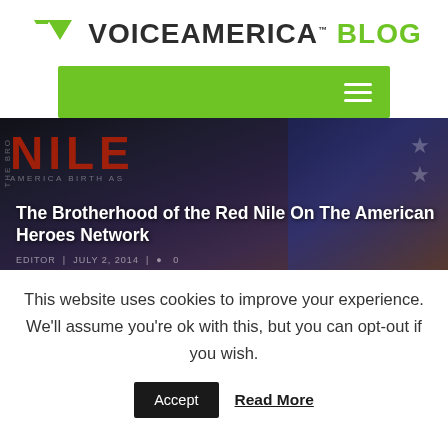VoiceAmerica Blog
[Figure (screenshot): Green navigation bar with hamburger menu icon on the right]
[Figure (photo): Hero image with dark background showing 'NILE' in red text and American flag elements. Title overlay reads 'The Brotherhood of the Red Nile On The American Heroes Network'. Meta line shows EDITOR | JULY 2, 2014 | 0]
The Brotherhood of the Red Nile On The American Heroes Network
This website uses cookies to improve your experience. We'll assume you're ok with this, but you can opt-out if you wish.
Accept   Read More